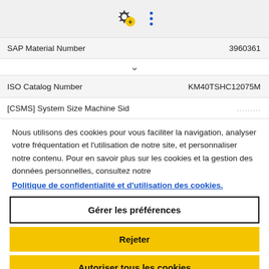[Figure (screenshot): Toolbar with gear/settings icon and vertical three-dot menu icon on grey background]
| Field | Value |
| --- | --- |
| SAP Material Number | 3960361 |
| ISO Catalog Number | KM40TSHC12075M |
| [CSMS] System Size Machine Sid | ... |
Nous utilisons des cookies pour vous faciliter la navigation, analyser votre fréquentation et l'utilisation de notre site, et personnaliser notre contenu. Pour en savoir plus sur les cookies et la gestion des données personnelles, consultez notre
Politique de confidentialité et d'utilisation des cookies.
Gérer les préférences
Rejeter
Autoriser tous les cookies